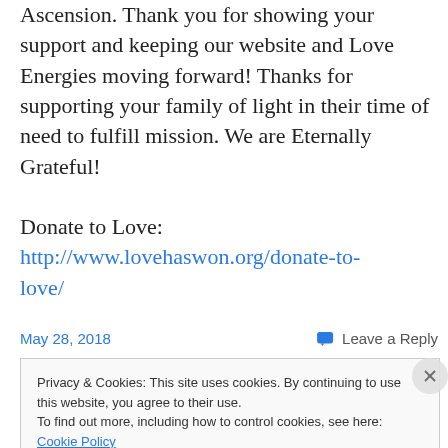Ascension. Thank you for showing your support and keeping our website and Love Energies moving forward! Thanks for supporting your family of light in their time of need to fulfill mission. We are Eternally Grateful!
Donate to Love: http://www.lovehaswon.org/donate-to-love/
May 28, 2018    💬 Leave a Reply
Privacy & Cookies: This site uses cookies. By continuing to use this website, you agree to their use.
To find out more, including how to control cookies, see here: Cookie Policy
Close and accept